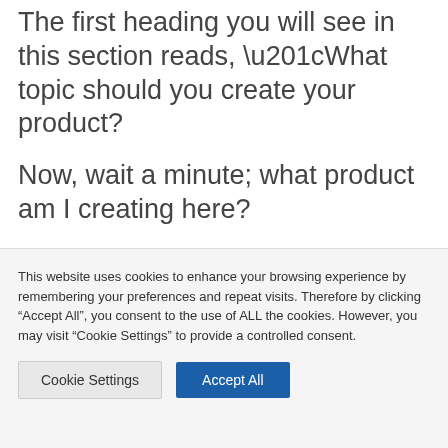The first heading you will see in this section reads, “What topic should you create your product?
Now, wait a minute; what product am I creating here?
Of course, you need to know what product you are creating, why you create
This website uses cookies to enhance your browsing experience by remembering your preferences and repeat visits. Therefore by clicking “Accept All”, you consent to the use of ALL the cookies. However, you may visit "Cookie Settings" to provide a controlled consent.